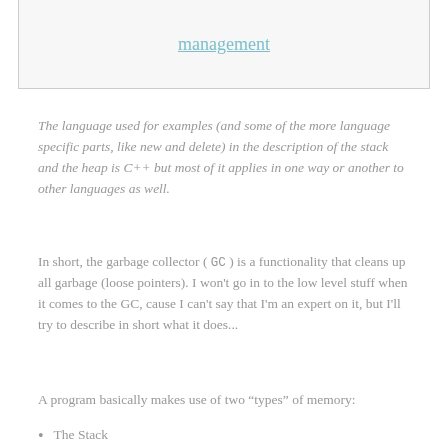[Figure (other): A rounded box with a hyperlink text 'management' in teal/cyan color, partially visible at top of page]
The language used for examples (and some of the more language specific parts, like new and delete) in the description of the stack and the heap is C++ but most of it applies in one way or another to other languages as well.
In short, the garbage collector ( GC ) is a functionality that cleans up all garbage (loose pointers). I won't go in to the low level stuff when it comes to the GC, cause I can't say that I'm an expert on it, but I'll try to describe in short what it does...
A program basically makes use of two “types” of memory:
The Stack